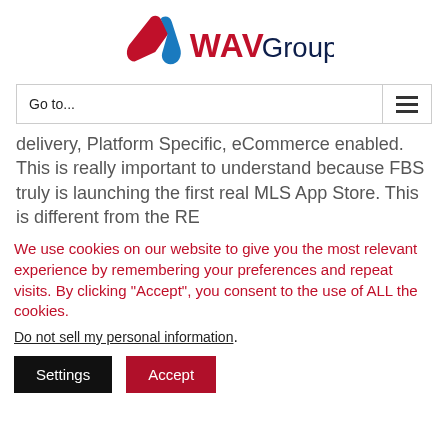[Figure (logo): WAV Group logo with stylized W ribbon in red and blue, followed by WAV in red/blue and Group in dark navy text]
Go to...
delivery, Platform Specific, eCommerce enabled. This is really important to understand because FBS truly is launching the first real MLS App Store. This is different from the RE
We use cookies on our website to give you the most relevant experience by remembering your preferences and repeat visits. By clicking “Accept”, you consent to the use of ALL the cookies.
Do not sell my personal information.
Settings
Accept